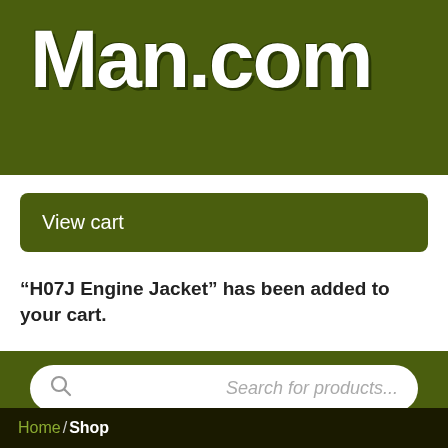Man.com
View cart
“H07J Engine Jacket” has been added to your cart.
Search for products...
1 item - $195.00
Menu
Home / Shop